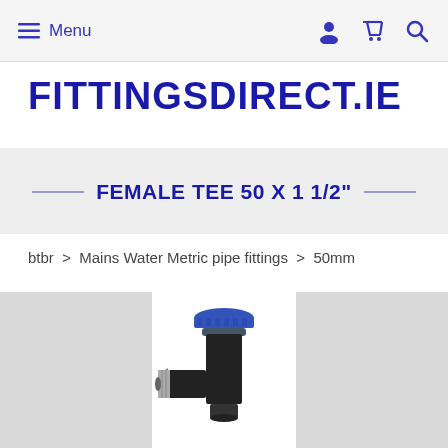Menu  [account icon] [cart icon] [search icon]
FITTINGSDIRECT.IE
FEMALE TEE 50 X 1 1/2"
btbr > Mains Water Metric pipe fittings > 50mm
[Figure (photo): Photo of a female tee pipe fitting, 50mm x 1 1/2", shown against a light grey background. The fitting has a blue plastic compression cap on top and a black body with a chrome/metal female threaded branch outlet at the side.]